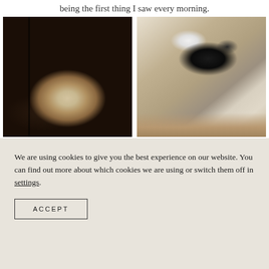being the first thing I saw every morning.
[Figure (photo): A cat lying curled up on a red patterned rug with chairs and metal furniture legs casting shadows nearby]
[Figure (photo): A black and white cat lying on a beige/tan patterned oriental rug with a wooden furniture leg visible and wood floor at the edge]
We are using cookies to give you the best experience on our website. You can find out more about which cookies we are using or switch them off in settings.
ACCEPT